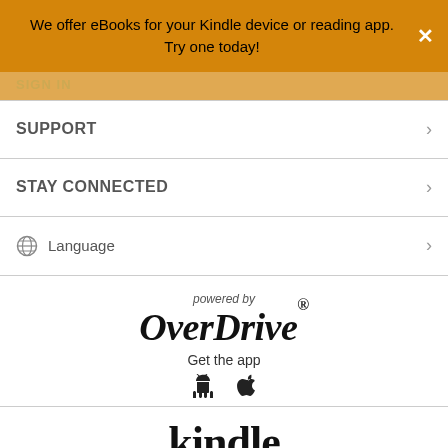We offer eBooks for your Kindle device or reading app. Try one today!
SIGN IN
SUPPORT
STAY CONNECTED
Language
powered by
OverDrive®
Get the app
[Figure (logo): Android and Apple app store icons]
kindle